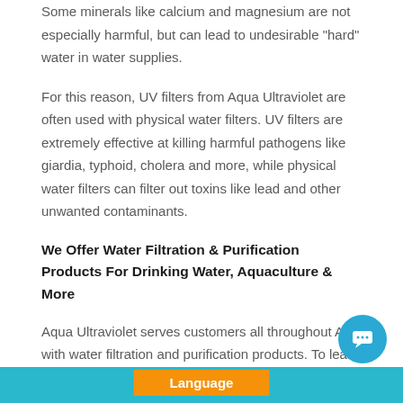Some minerals like calcium and magnesium are not especially harmful, but can lead to undesirable “hard” water in water supplies.
For this reason, UV filters from Aqua Ultraviolet are often used with physical water filters. UV filters are extremely effective at killing harmful pathogens like giardia, typhoid, cholera and more, while physical water filters can filter out toxins like lead and other unwanted contaminants.
We Offer Water Filtration & Purification Products For Drinking Water, Aquaculture & More
Aqua Ultraviolet serves customers all throughout Asia with water filtration and purification products. To learn more and see how we can help your organization, just contact us online or call now at (800) 454-2725.
Language